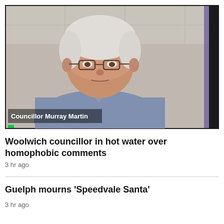[Figure (photo): Video screenshot of Councillor Murray Martin, an older man with white hair and glasses, wearing a light blue shirt, on a video call. A name label reads 'Councillor Murray Martin'.]
Woolwich councillor in hot water over homophobic comments
3 hr ago
Guelph mourns 'Speedvale Santa'
3 hr ago